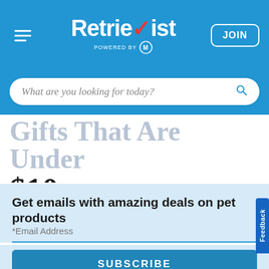Retrievist — powered by [logo] — JOIN
What are you looking for today?
Gifts That Are Under $10
Get emails with amazing deals on pet products
*Email Address
SUBSCRIBE